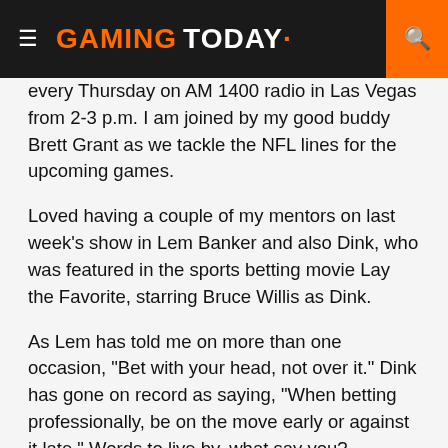GAMING TODAY
every Thursday on AM 1400 radio in Las Vegas from 2-3 p.m. I am joined by my good buddy Brett Grant as we tackle the NFL lines for the upcoming games.
Loved having a couple of my mentors on last week’s show in Lem Banker and also Dink, who was featured in the sports betting movie Lay the Favorite, starring Bruce Willis as Dink.
As Lem has told me on more than one occasion, “Bet with your head, not over it.” Dink has gone on record as saying, “When betting professionally, be on the move early or against it late.” Words to live by, what say you?
Check out Scott’s sports betting show The Odds Couple on AM 1400 radio daily when it resumes in August. It is broadcast LIVE and worldwide on Vegas Video Network. For free daily plays, check out my site: